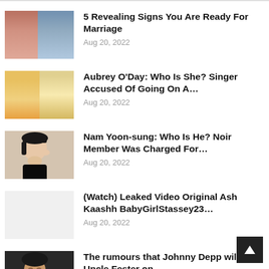[Figure (photo): Couple photo - man and woman close together]
5 Revealing Signs You Are Ready For Marriage
Aug 20, 2022
[Figure (photo): Two blonde women side by side]
Aubrey O'Day: Who Is She? Singer Accused Of Going On A…
Aug 20, 2022
[Figure (photo): Asian person with headband and short dark hair]
Nam Yoon-sung: Who Is He? Noir Member Was Charged For…
Aug 20, 2022
[Figure (photo): Blank/placeholder image]
(Watch) Leaked Video Original Ash Kaashh BabyGirlStassey23…
Aug 20, 2022
[Figure (photo): Johnny Depp photo]
The rumours that Johnny Depp will play Uncle Fester on…